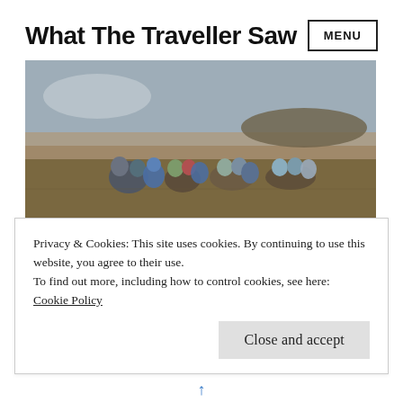What The Traveller Saw  MENU
[Figure (photo): A group of people, including women and children in colourful clothing, sitting or crouching in an arid, dusty open field with hazy background.]
Kofi Annan: my
Privacy & Cookies: This site uses cookies. By continuing to use this website, you agree to their use.
To find out more, including how to control cookies, see here:
Cookie Policy
Close and accept